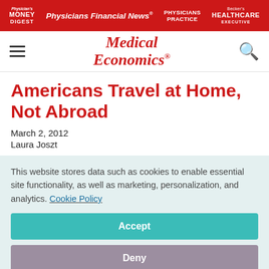Physician's Money Digest | Physicians Financial News | Physicians Practice | Becker's Healthcare Executive
[Figure (logo): Medical Economics logo in red italic serif font]
Americans Travel at Home, Not Abroad
March 2, 2012
Laura Joszt
This website stores data such as cookies to enable essential site functionality, as well as marketing, personalization, and analytics. Cookie Policy
Accept
Deny